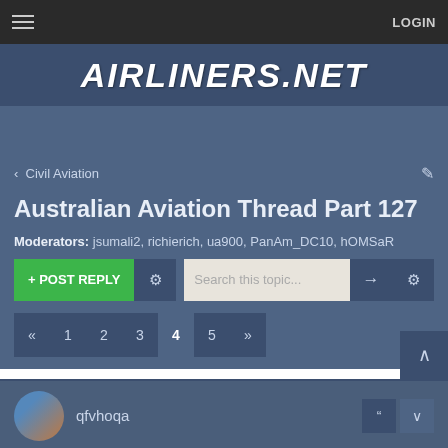≡   LOGIN
[Figure (logo): AIRLINERS.NET logo in white bold italic text on dark blue background]
< Civil Aviation
Australian Aviation Thread Part 127
Moderators: jsumali2, richierich, ua900, PanAm_DC10, hOMSaR
+ POST REPLY  [gear]  Search this topic...  →  [gear]
« 1 2 3 4 5 »
qfvhoqa